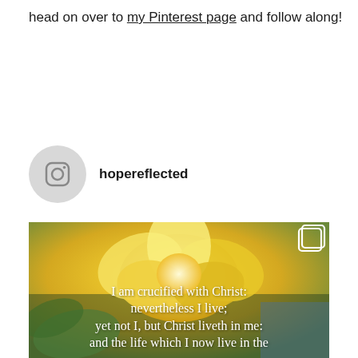head on over to my Pinterest page and follow along!
[Figure (screenshot): Instagram post header showing hopereflected username with Instagram camera icon avatar]
[Figure (photo): Instagram post photo of yellow flowers (carnations/roses) with Bible verse overlay: 'I am crucified with Christ: nevertheless I live; yet not I, but Christ liveth in me: and the life which I now live in the']